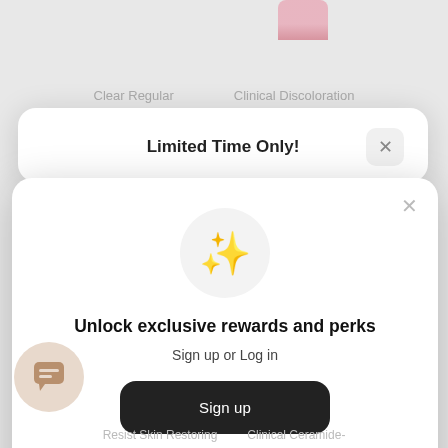Clear Regular    Clinical Discoloration
Limited Time Only!
[Figure (illustration): Sparkle/stars emoji icon inside a light gray circle]
Unlock exclusive rewards and perks
Sign up or Log in
Sign up
Already have an account? Sign in
Resist Skin Restoring    Clinical Ceramide-